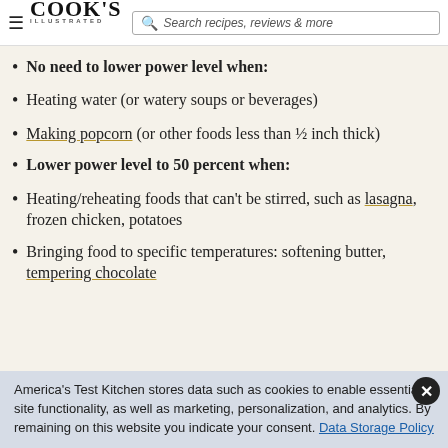Cook's Illustrated — Search recipes, reviews & more
No need to lower power level when:
Heating water (or watery soups or beverages)
Making popcorn (or other foods less than ½ inch thick)
Lower power level to 50 percent when:
Heating/reheating foods that can't be stirred, such as lasagna, frozen chicken, potatoes
Bringing food to specific temperatures: softening butter, tempering chocolate
America's Test Kitchen stores data such as cookies to enable essential site functionality, as well as marketing, personalization, and analytics. By remaining on this website you indicate your consent. Data Storage Policy